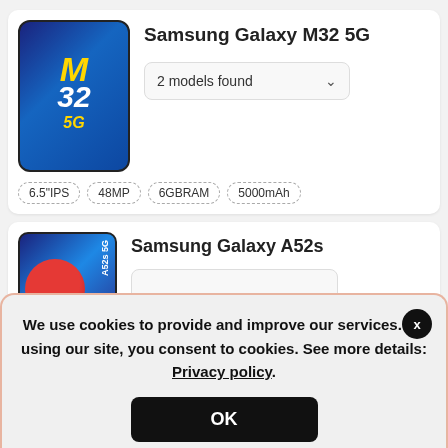[Figure (photo): Samsung Galaxy M32 5G smartphone product image with blue gradient background, M32 5G branding in yellow and white]
Samsung Galaxy M32 5G
2 models found
6.5"IPS
48MP
6GBRAM
5000mAh
[Figure (photo): Samsung Galaxy A52s 5G smartphone product image with blue background and red circular element]
Samsung Galaxy A52s
We use cookies to provide and improve our services. By using our site, you consent to cookies. See more details: Privacy policy.
OK